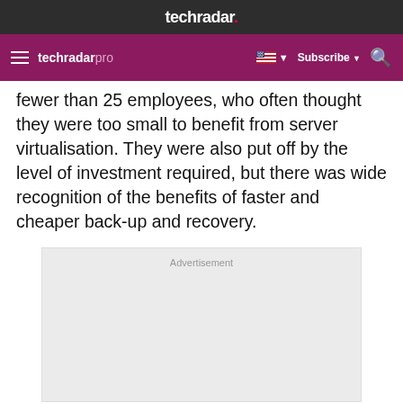techradar.
techradar pro — Subscribe
fewer than 25 employees, who often thought they were too small to benefit from server virtualisation. They were also put off by the level of investment required, but there was wide recognition of the benefits of faster and cheaper back-up and recovery.
[Figure (other): Advertisement placeholder box with 'Advertisement' label text]